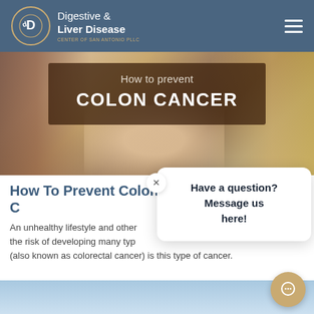Digestive & Liver Disease CENTER OF SAN ANTONIO PLLC
[Figure (photo): Hero image showing a person holding a cross-section anatomical model of the digestive system, with overlay text box reading 'How to prevent COLON CANCER']
How To Prevent Colon Cancer
An unhealthy lifestyle and other factors can increase the risk of developing many types of cancer. Colon cancer (also known as colorectal cancer) is this type of cancer.
[Figure (screenshot): Chat popup widget with close X button, text 'Have a question? Message us here!' and a tan/gold chat bubble button icon]